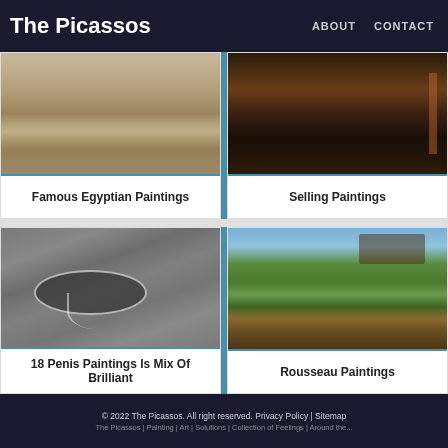The Picassos | ABOUT | CONTACT
[Figure (photo): Close-up of wood grain texture, painting fragment]
Famous Egyptian Paintings
[Figure (photo): Dark painting with reddish-brown tones, interior scene]
Selling Paintings
[Figure (photo): Aerial view of asphalt road with a pothole outlined in white chalk, road markings visible]
18 Penis Paintings Is Mix Of Brilliant
[Figure (photo): Landscape painting of a castle or fortress on a hillside with green trees and cloudy sky]
Rousseau Paintings
© 2022 The Picassos. All right reserved. Privacy Policy | Sitemap
The Picassos | Painting | Art | Solutions | Collection of Feelings | Around the...